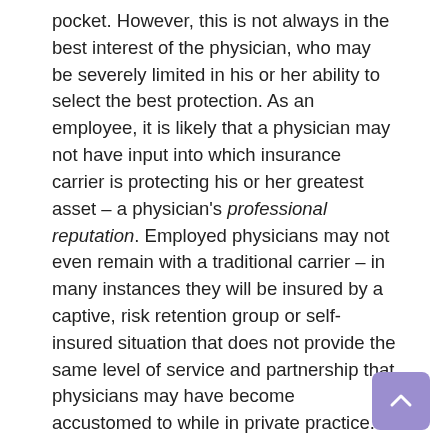pocket. However, this is not always in the best interest of the physician, who may be severely limited in his or her ability to select the best protection. As an employee, it is likely that a physician may not have input into which insurance carrier is protecting his or her greatest asset – a physician's professional reputation. Employed physicians may not even remain with a traditional carrier – in many instances they will be insured by a captive, risk retention group or self-insured situation that does not provide the same level of service and partnership that physicians may have become accustomed to while in private practice.
Another factor to consider is the fact that when physicians share the same medical professional liability protection as the hospital that employs them, there is the potential for a conflict of interest when it comes to defending the physician against a malpractice claim. When a physician is insured through a hospital or medical group also named in the suit, he or she may be asked to waive any potential conflicts of interest to help ensure a cooperative and efficient joint defense. An attorney's representation of the hospital or